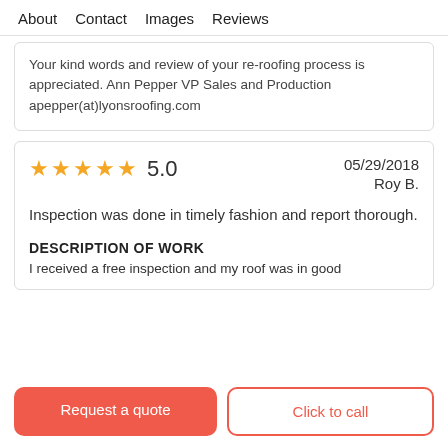About   Contact   Images   Reviews
Your kind words and review of your re-roofing process is appreciated. Ann Pepper VP Sales and Production apepper(at)lyonsroofing.com
★★★★★ 5.0   05/29/2018   Roy B.
Inspection was done in timely fashion and report thorough.
DESCRIPTION OF WORK
I received a free inspection and my roof was in good
Request a quote
Click to call